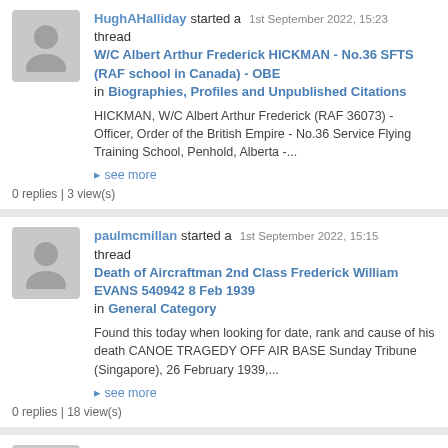HughAHalliday started a thread W/C Albert Arthur Frederick HICKMAN - No.36 SFTS (RAF school in Canada) - OBE in Biographies, Profiles and Unpublished Citations — 1st September 2022, 15:23
HICKMAN, W/C Albert Arthur Frederick (RAF 36073) - Officer, Order of the British Empire - No.36 Service Flying Training School, Penhold, Alberta -...
▸ see more
0 replies | 3 view(s)
paulmcmillan started a thread Death of Aircraftman 2nd Class Frederick William EVANS 540942 8 Feb 1939 in General Category — 1st September 2022, 15:15
Found this today when looking for date, rank and cause of his death CANOE TRAGEDY OFF AIR BASE Sunday Tribune (Singapore), 26 February 1939,...
▸ see more
0 replies | 18 view(s)
Richard.K replied to a thread Usa volunteer rcaf/raf airgunner sgt v w harry r120163 in General Category — 1st September 2022, 15:11